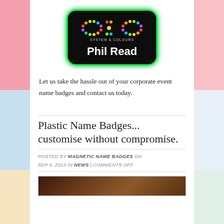[Figure (photo): OXO System & Colours name badge for Phil Read — dark badge with colorful dot-matrix logo and white text, glowing green border]
Let us take the hassle out of your corporate event name badges and contact us today.
Plastic Name Badges... customise without compromise.
POSTED BY MAGNETIC NAME BADGES ON SEP 6, 2013 IN NEWS | COMMENTS OFF
[Figure (photo): Partial image of name badges — dark colorful background, bottom of page]